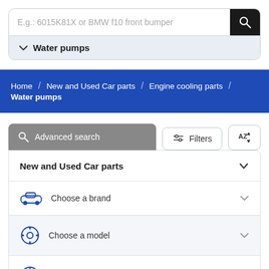[Figure (screenshot): Search input bar with placeholder text 'E.g.: 6015K81X or BMW f10 front bumper' and a dark search button icon on the right, with a 'Water pumps' dropdown row below]
Home / New and Used Car parts / Engine cooling parts / Water pumps
[Figure (screenshot): Advanced search tab and Filters / AZ sort buttons row]
[Figure (screenshot): Accordion panel with rows: New and Used Car parts (bold, chevron), Choose a brand (car icon), Choose a model (gear icon), Select a modification (steering wheel icon), Engine cooling parts (chain/gear icon, bold)]